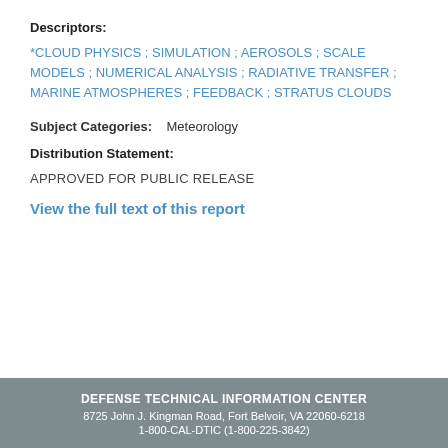Descriptors:
*CLOUD PHYSICS ; SIMULATION ; AEROSOLS ; SCALE MODELS ; NUMERICAL ANALYSIS ; RADIATIVE TRANSFER ; MARINE ATMOSPHERES ; FEEDBACK ; STRATUS CLOUDS
Subject Categories:   Meteorology
Distribution Statement:
APPROVED FOR PUBLIC RELEASE
View the full text of this report
DEFENSE TECHNICAL INFORMATION CENTER
8725 John J. Kingman Road, Fort Belvoir, VA 22060-6218
1-800-CAL-DTIC (1-800-225-3842)